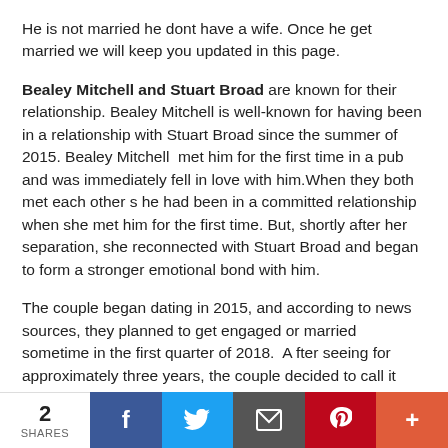He is not married he dont have a wife. Once he get married we will keep you updated in this page.
Bealey Mitchell and Stuart Broad are known for their relationship. Bealey Mitchell is well-known for having been in a relationship with Stuart Broad since the summer of 2015. Bealey Mitchell  met him for the first time in a pub and was immediately fell in love with him.When they both met each other s he had been in a committed relationship when she met him for the first time. But, shortly after her separation, she reconnected with Stuart Broad and began to form a stronger emotional bond with him.
The couple began dating in 2015, and according to news sources, they planned to get engaged or married sometime in the first quarter of 2018.  A fter seeing for approximately three years, the couple decided to call it quits in May 2017.  Bealey Mitchell used to often visit matches in order to show her love for Stuart, and the two of them even had a few...
2 SHARES | Facebook | Twitter | Email | Pinterest | More